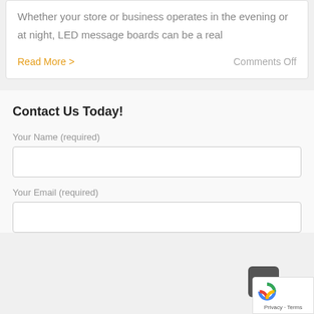Whether your store or business operates in the evening or at night, LED message boards can be a real
Read More >
Comments Off
Contact Us Today!
Your Name (required)
Your Email (required)